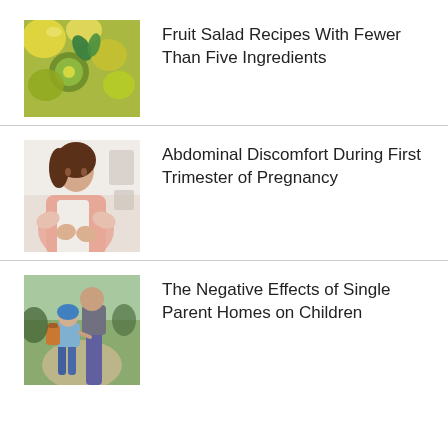[Figure (photo): Close-up photo of a fruit salad with kiwi, citrus, and mint leaves]
Fruit Salad Recipes With Fewer Than Five Ingredients
[Figure (photo): Woman holding her abdomen in discomfort, wearing a pink top]
Abdominal Discomfort During First Trimester of Pregnancy
[Figure (photo): Child with backpack and helmet holding adult's hand on a path]
The Negative Effects of Single Parent Homes on Children